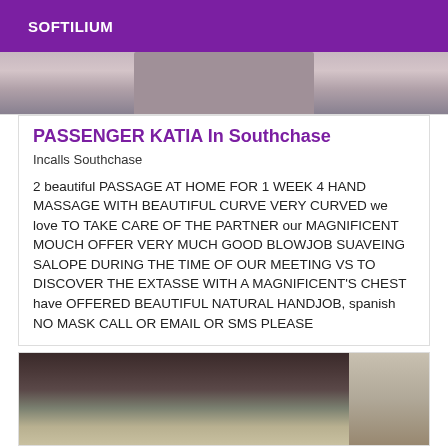SOFTILIUM
[Figure (photo): Top partial photo strip showing person, cropped]
PASSENGER KATIA In Southchase
Incalls Southchase
2 beautiful PASSAGE AT HOME FOR 1 WEEK 4 HAND MASSAGE WITH BEAUTIFUL CURVE VERY CURVED we love TO TAKE CARE OF THE PARTNER our MAGNIFICENT MOUCH OFFER VERY MUCH GOOD BLOWJOB SUAVEING SALOPE DURING THE TIME OF OUR MEETING VS TO DISCOVER THE EXTASSE WITH A MAGNIFICENT'S CHEST have OFFERED BEAUTIFUL NATURAL HANDJOB, spanish NO MASK CALL OR EMAIL OR SMS PLEASE
[Figure (photo): Bottom partial photo showing person with long dark hair outdoors near trees and brick building]